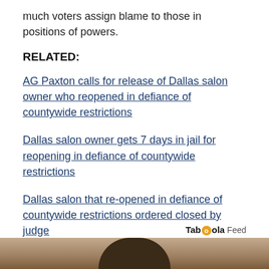much voters assign blame to those in positions of powers.
RELATED:
AG Paxton calls for release of Dallas salon owner who reopened in defiance of countywide restrictions
Dallas salon owner gets 7 days in jail for reopening in defiance of countywide restrictions
Dallas salon that re-opened in defiance of countywide restrictions ordered closed by judge
Dallas salon opens for business despite COVID-19 stay-at-home order
Taboola Feed
[Figure (photo): Bottom strip showing partial photo, appears to be a person wearing a wide-brimmed hat, earthy/sandy background tones]